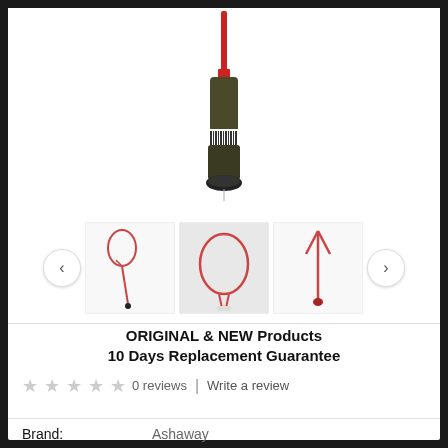[Figure (photo): Main product image showing the handle/grip end of a red badminton racket viewed from above, with the shaft pointing upward]
[Figure (photo): Three thumbnail images of a red badminton racket: full racket view, head/frame close-up, and T-joint detail view, with left and right navigation arrows]
ORIGINAL & NEW Products
10 Days Replacement Guarantee
0 reviews  |  Write a review
Brand:   Ashaway